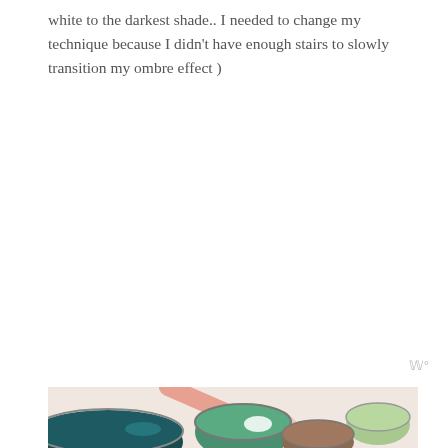white to the darkest shade.. I needed to change my technique because I didn't have enough stairs to slowly transition my ombre effect )
[Figure (photo): Overhead view of several open paint cans in various shades of green, teal, and brown, with a pink-handled paintbrush resting across them on a light surface.]